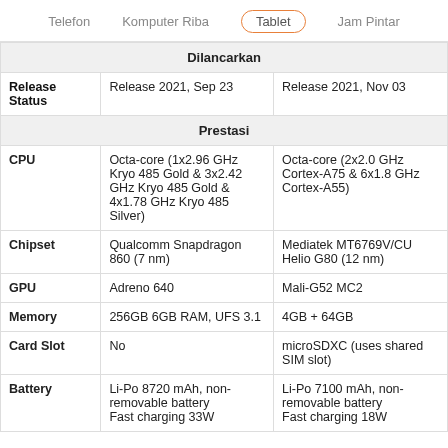Telefon  Komputer Riba  Tablet  Jam Pintar
| Dilancarkan |  |  |
| Release Status | Release 2021, Sep 23 | Release 2021, Nov 03 |
| Prestasi |  |  |
| CPU | Octa-core (1x2.96 GHz Kryo 485 Gold & 3x2.42 GHz Kryo 485 Gold & 4x1.78 GHz Kryo 485 Silver) | Octa-core (2x2.0 GHz Cortex-A75 & 6x1.8 GHz Cortex-A55) |
| Chipset | Qualcomm Snapdragon 860 (7 nm) | Mediatek MT6769V/CU Helio G80 (12 nm) |
| GPU | Adreno 640 | Mali-G52 MC2 |
| Memory | 256GB 6GB RAM, UFS 3.1 | 4GB + 64GB |
| Card Slot | No | microSDXC (uses shared SIM slot) |
| Battery | Li-Po 8720 mAh, non-removable battery Fast charging 33W... | Li-Po 7100 mAh, non-removable battery Fast charging 18W... |